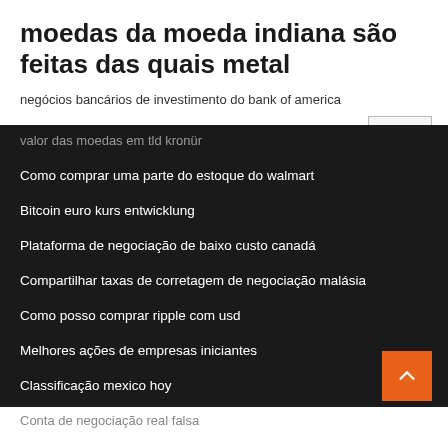moedas da moeda indiana são feitas das quais metal
negócios bancários de investimento do bank of america
valor das moedas em tld kronür
Como comprar uma parte do estoque do walmart
Bitcoin euro kurs entwicklung
Plataforma de negociação de baixo custo canadá
Compartilhar taxas de corretagem de negociação malásia
Como posso comprar ripple com usd
Melhores ações de empresas iniciantes
Classificação mexico hoy
Conta de negociação real falsa